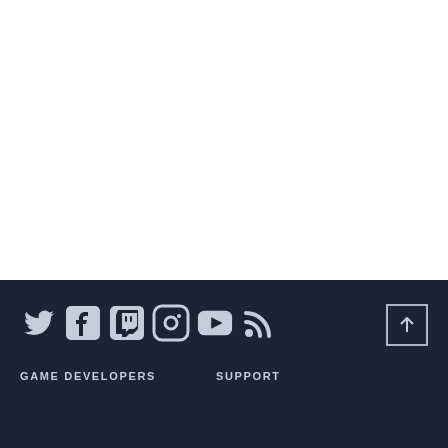[Figure (screenshot): White blank area at top of page]
Social media icons: Twitter, Facebook, Twitch, Instagram, YouTube, RSS. Scroll-to-top button. Footer navigation: GAME DEVELOPERS, SUPPORT